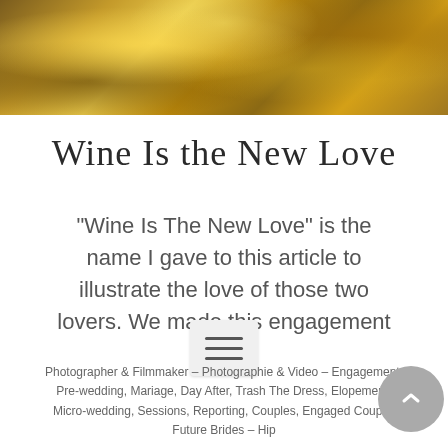[Figure (photo): Golden bokeh photo banner showing autumn leaves or gold-toned foliage background]
Wine Is the New Love
“Wine Is The New Love” is the name I gave to this article to illustrate the love of those two lovers. We made this engagement
[Figure (other): Hamburger menu button icon (three horizontal lines)]
Photographer & Filmmaker – Photographie & Video – Engagement, Pre-wedding, Mariage, Day After, Trash The Dress, Elopement, Micro-wedding, Sessions, Reporting, Couples, Engaged Couple, Future Brides – Hip